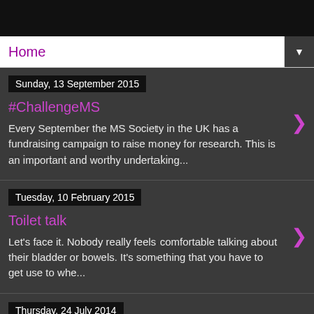Home
Sunday, 13 September 2015
#ChallengeMS
Every September the MS Society in the UK has a fundraising campaign to raise money for research. This is an important and worthy undertaking...
Tuesday, 10 February 2015
Toilet talk
Let's face it. Nobody really feels comfortable talking about their bladder or bowels. It's something that you have to get use to whe...
Thursday, 24 July 2014
Accessible London?
Ever since the 2012 Olympics Transport for London have been proud of their accessible...